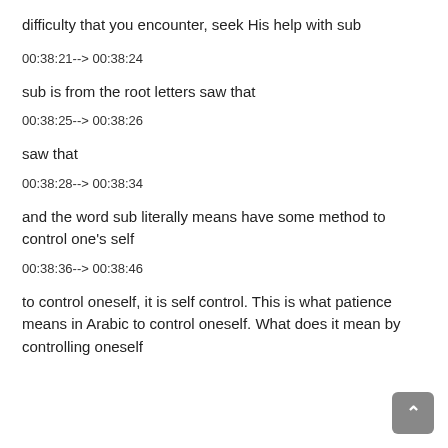difficulty that you encounter, seek His help with sub
00:38:21--> 00:38:24
sub is from the root letters saw that
00:38:25--> 00:38:26
saw that
00:38:28--> 00:38:34
and the word sub literally means have some method to control one's self
00:38:36--> 00:38:46
to control oneself, it is self control. This is what patience means in Arabic to control oneself. What does it mean by controlling oneself